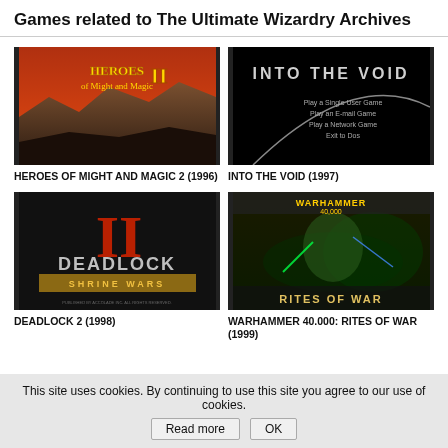Games related to The Ultimate Wizardry Archives
[Figure (photo): Heroes of Might and Magic 2 game cover — fantasy battlefield with red sky]
HEROES OF MIGHT AND MAGIC 2 (1996)
[Figure (photo): Into the Void game title screen — black background with menu options]
INTO THE VOID (1997)
[Figure (photo): Deadlock 2: Shrine Wars game cover — large metallic Roman numeral II logo]
DEADLOCK 2 (1998)
[Figure (photo): Warhammer 40,000: Rites of War game cover — sci-fi battle scene with alien figures]
WARHAMMER 40.000: RITES OF WAR (1999)
This site uses cookies. By continuing to use this site you agree to our use of cookies. Read more OK